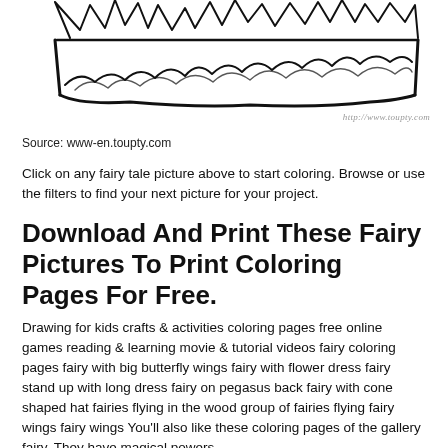[Figure (illustration): Black and white line drawing of a fairy crown or decorative element with jagged spikes and flowing design, cropped at top of page]
http://www.toupty.com
Source: www-en.toupty.com
Click on any fairy tale picture above to start coloring. Browse or use the filters to find your next picture for your project.
Download And Print These Fairy Pictures To Print Coloring Pages For Free.
Drawing for kids crafts & activities coloring pages free online games reading & learning movie & tutorial videos fairy coloring pages fairy with big butterfly wings fairy with flower dress fairy stand up with long dress fairy on pegasus back fairy with cone shaped hat fairies flying in the wood group of fairies flying fairy wings fairy wings You'll also like these coloring pages of the gallery fairy. They have magical powers,